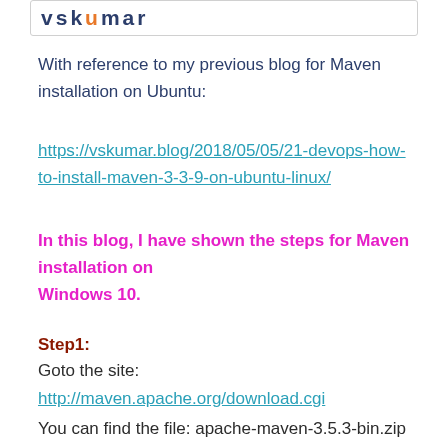[Figure (logo): Blog logo/header image partially visible at top]
With reference to my previous blog for Maven installation on Ubuntu:
https://vskumar.blog/2018/05/05/21-devops-how-to-install-maven-3-3-9-on-ubuntu-linux/
In this blog, I have shown the steps for Maven installation on Windows 10.
Step1:
Goto the site:
http://maven.apache.org/download.cgi
You can find the file: apache-maven-3.5.3-bin.zip